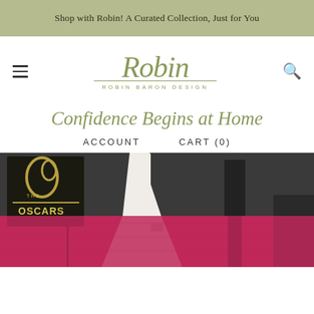Shop with Robin! A Curated Collection, Just for You
[Figure (logo): Robin Baron Design cursive logo with tagline]
Confidence Begins at Home
ACCOUNT    CART (0)
[Figure (photo): Woman in white gown on red carpet at The Oscars event]